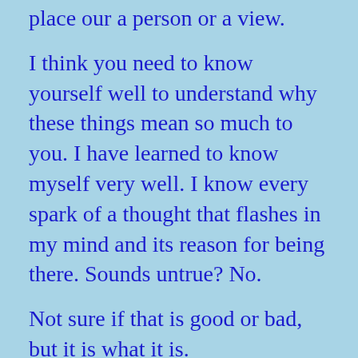place our a person or a view.
I think you need to know yourself well to understand why these things mean so much to you. I have learned to know myself very well. I know every spark of a thought that flashes in my mind and its reason for being there. Sounds untrue? No.
Not sure if that is good or bad, but it is what it is.
The walk into Sarria is almost a sprint. Well as much of a sprint as I can muster.
The start of the day is as beautiful as any day. The early mountain dew, the chill in the air and the sun trying to burn holes in the tissue paper that is the veil of mist, like that pub game you used to be able to play when you smoked indoors. You know, you put a